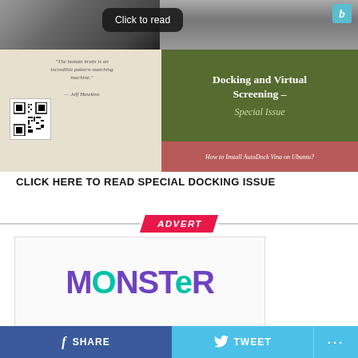[Figure (screenshot): Book cover for 'Docking and Virtual Screening – Special Issue' with a dark photo background, olive green center panel with title, QR code, and a pink-red bottom bar reading 'How to Install AutoDock Vina on Ubuntu?'. A 'Click to read' bubble appears at the top.]
CLICK HERE TO READ SPECIAL DOCKING ISSUE
[Figure (logo): ADVERT badge in red with diagonal shape, flanked by horizontal lines]
[Figure (logo): Monster logo in purple and teal colors]
SHARE
TWEET
...